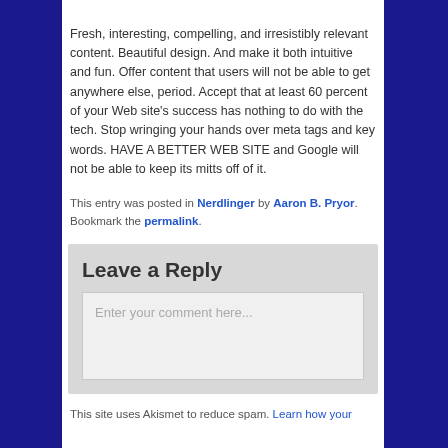Fresh, interesting, compelling, and irresistibly relevant content. Beautiful design. And make it both intuitive and fun. Offer content that users will not be able to get anywhere else, period. Accept that at least 60 percent of your Web site's success has nothing to do with the tech. Stop wringing your hands over meta tags and key words. HAVE A BETTER WEB SITE and Google will not be able to keep its mitts off of it.
This entry was posted in Nerdlinger by Aaron B. Pryor. Bookmark the permalink.
Leave a Reply
Enter your comment here...
This site uses Akismet to reduce spam. Learn how your